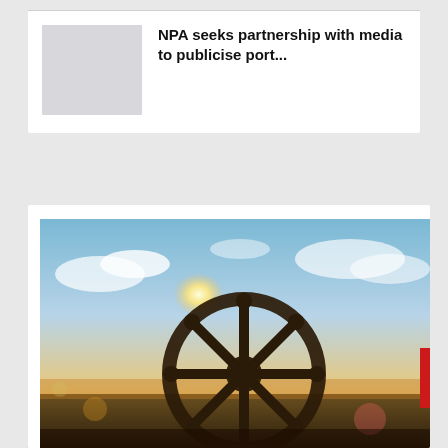[Figure (illustration): Thumbnail placeholder image (light gray rectangle) for a news article]
NPA seeks partnership with media to publicise port...
[Figure (photo): Full-bleed photograph of a wooden ship steering wheel (helm) shot from below against a bright sunset sky with clouds. Silhouetted handles visible at top, warm golden backlight, bokeh in background.]